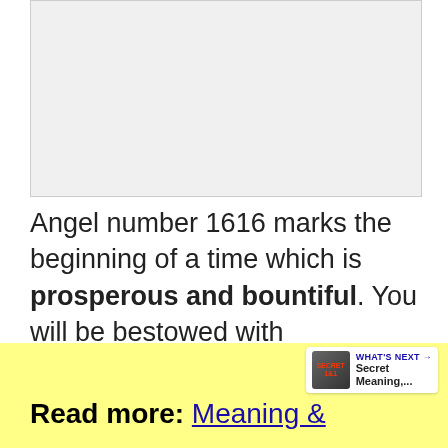[Figure (photo): Light gray placeholder image area at top of page]
Angel number 1616 marks the beginning of a time which is prosperous and bountiful. You will be bestowed with abundance in all the realms of your life. The universe has chosen to reward you with blessings and richness.
Read more: Meaning &